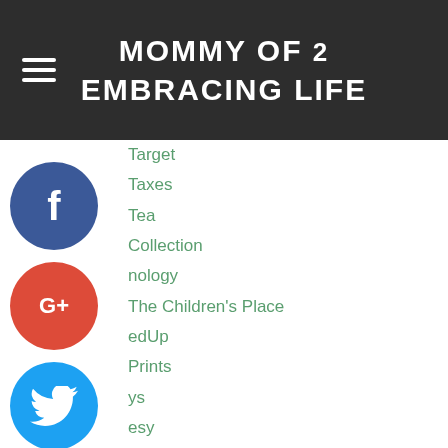MOMMY OF 2 EMBRACING LIFE
Target
Taxes
Tea
Collection
nology
The Children's Place
edUp
Prints
ys
esy
Travel
t
&Co
Vgan
aPrint
Vitalicious
mins
greens
Wal...
[Figure (infographic): Social media sharing buttons: Facebook (blue circle with f), Google+ (red circle with G+), Twitter (blue circle with bird), Pinterest (red circle with P), Blogger (orange circle with B), More (grey circle with ...)]